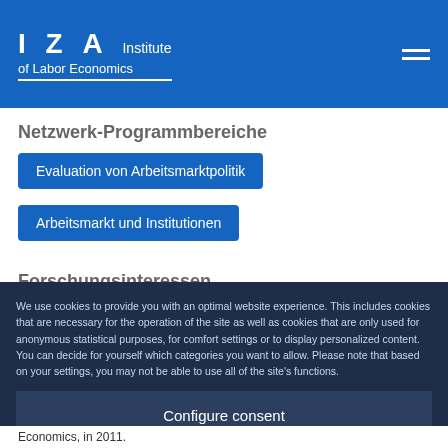IZA Institute of Labor Economics
Netzwerk-Programmbereiche
Evaluation von Arbeitsmarktpolitik
Arbeitsmarkt und Institutionen
Forschungsinteressen
labor
policy evaluation
political economy
We use cookies to provide you with an optimal website experience. This includes cookies that are necessary for the operation of the site as well as cookies that are only used for anonymous statistical purposes, for comfort settings or to display personalized content. You can decide for yourself which categories you want to allow. Please note that based on your settings, you may not be able to use all of the site's functions.
Configure consent
Accept all
Economics, in 2011.